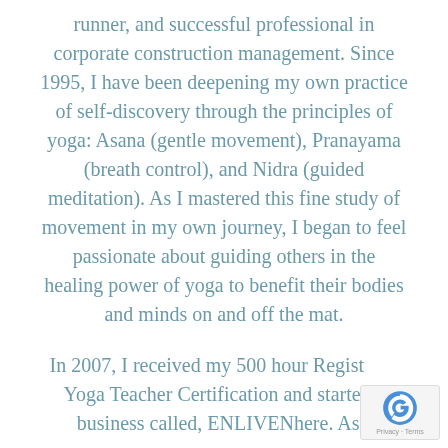runner, and successful professional in corporate construction management. Since 1995, I have been deepening my own practice of self-discovery through the principles of yoga: Asana (gentle movement), Pranayama (breath control), and Nidra (guided meditation). As I mastered this fine study of movement in my own journey, I began to feel passionate about guiding others in the healing power of yoga to benefit their bodies and minds on and off the mat.
In 2007, I received my 500 hour Registered Yoga Teacher Certification and started a business called, ENLIVENhere. As I